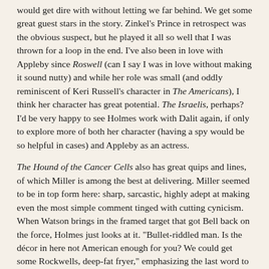would get dire with without letting we far behind. We get some great guest stars in the story. Zinkel's Prince in retrospect was the obvious suspect, but he played it all so well that I was thrown for a loop in the end. I've also been in love with Appleby since Roswell (can I say I was in love without making it sound nutty) and while her role was small (and oddly reminiscent of Keri Russell's character in The Americans), I think her character has great potential. The Israelis, perhaps? I'd be very happy to see Holmes work with Dalit again, if only to explore more of both her character (having a spy would be so helpful in cases) and Appleby as an actress.
The Hound of the Cancer Cells also has great quips and lines, of which Miller is among the best at delivering. Miller seemed to be in top form here: sharp, sarcastic, highly adept at making even the most simple comment tinged with cutting cynicism. When Watson brings in the framed target that got Bell back on the force, Holmes just looks at it. "Bullet-riddled man. Is the décor in here not American enough for you? We could get some Rockwells, deep-fat fryer," emphasizing the last word to add a coda on his disdain for both American culture and its violence. He's equally sharp and sarcastic with both Prince and Dalit, finding the Mossad's work in its strongest ally amusing. However, he also shows how much